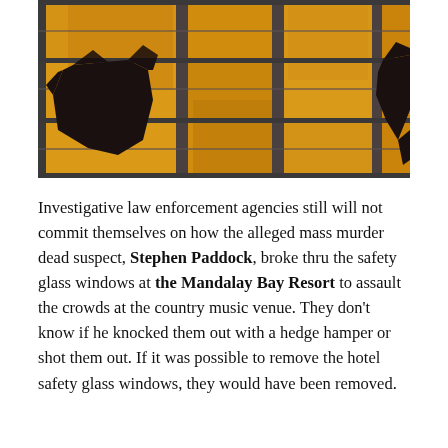[Figure (photo): Close-up photograph of a high-rise hotel building exterior showing large golden/amber glass-panel windows. Two windows have been shattered and broken out, showing black jagged openings against the golden reflective glass facade. The photo appears to be of the Mandalay Bay Resort hotel.]
Investigative law enforcement agencies still will not commit themselves on how the alleged mass murder dead suspect, Stephen Paddock, broke thru the safety glass windows at the Mandalay Bay Resort to assault the crowds at the country music venue. They don't know if he knocked them out with a hedge hamper or shot them out. If it was possible to remove the hotel safety glass windows, they would have been removed.